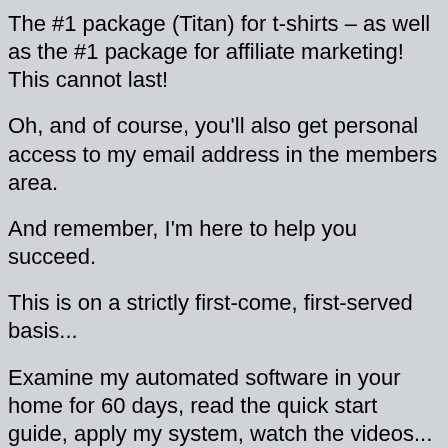The #1 package (Titan) for t-shirts – as well as the #1 package for affiliate marketing! This cannot last!
Oh, and of course, you'll also get personal access to my email address in the members area.
And remember, I'm here to help you succeed.
This is on a strictly first-come, first-served basis...
Examine my automated software in your home for 60 days, read the quick start guide, apply my system, watch the videos...
Automate your traffic & online business with my simple software tools, download the training, copy my entire system...